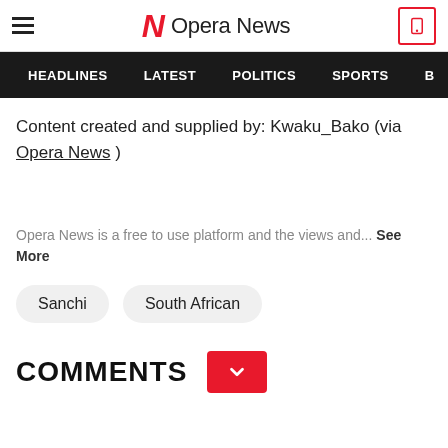Opera News
HEADLINES  LATEST  POLITICS  SPORTS
Content created and supplied by: Kwaku_Bako (via Opera News )
Opera News is a free to use platform and the views and... See More
Sanchi
South African
COMMENTS